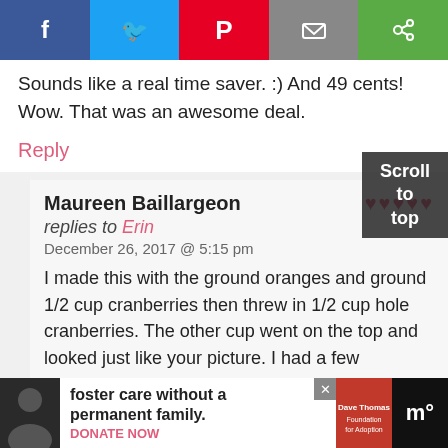[Figure (screenshot): Social share bar with Facebook, Twitter, Pinterest, Email, and share icon buttons]
Sounds like a real time saver. :) And 49 cents! Wow. That was an awesome deal.
Reply
Maureen Baillargeon replies to Erin December 26, 2017 @ 5:15 pm
I made this with the ground oranges and ground 1/2 cup cranberries then threw in 1/2 cup hole cranberries. The other cup went on the top and looked just like your picture. I had a few difficulties, only a 9″ springform pan so thought i'd just add a bit more flour. I did 2 1/2 cups of almond flour and 1 cup of 1:1 king Arthur gluten free, I threw in 4 tables...
[Figure (screenshot): Advertisement banner: foster care without a permanent family, Dave Thomas Foundation for Adoption, with close button]